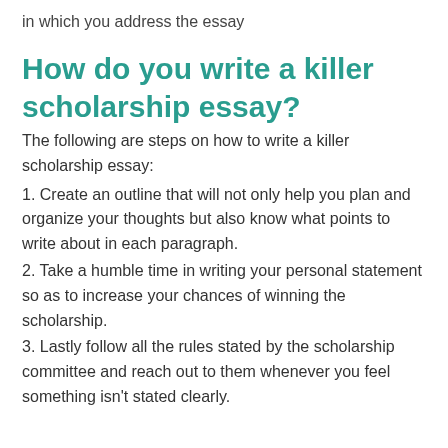in which you address the essay
How do you write a killer scholarship essay?
The following are steps on how to write a killer scholarship essay:
1. Create an outline that will not only help you plan and organize your thoughts but also know what points to write about in each paragraph.
2. Take a humble time in writing your personal statement so as to increase your chances of winning the scholarship.
3. Lastly follow all the rules stated by the scholarship committee and reach out to them whenever you feel something isn't stated clearly.